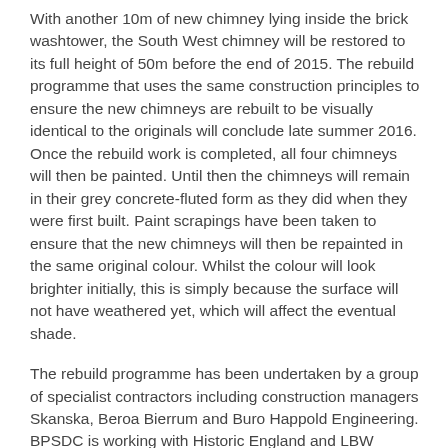With another 10m of new chimney lying inside the brick washtower, the South West chimney will be restored to its full height of 50m before the end of 2015. The rebuild programme that uses the same construction principles to ensure the new chimneys are rebuilt to be visually identical to the originals will conclude late summer 2016. Once the rebuild work is completed, all four chimneys will then be painted. Until then the chimneys will remain in their grey concrete-fluted form as they did when they were first built. Paint scrapings have been taken to ensure that the new chimneys will then be repainted in the same original colour. Whilst the colour will look brighter initially, this is simply because the surface will not have weathered yet, which will affect the eventual shade.
The rebuild programme has been undertaken by a group of specialist contractors including construction managers Skanska, Beroa Bierrum and Buro Happold Engineering. BPSDC is working with Historic England and LBW throughout the process of redeveloping the Grade II* listed Power Station to open it up to the public.
Nigel Barker, Planning Group Director for London at Historic England concluded: "We are excited to see the delivery of this